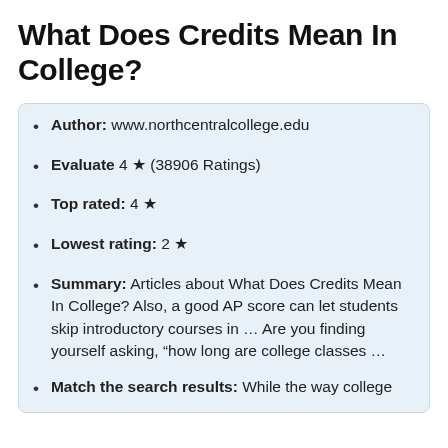What Does Credits Mean In College?
Author: www.northcentralcollege.edu
Evaluate 4 ★ (38906 Ratings)
Top rated: 4 ★
Lowest rating: 2 ★
Summary: Articles about What Does Credits Mean In College? Also, a good AP score can let students skip introductory courses in … Are you finding yourself asking, “how long are college classes …
Match the search results: While the way college